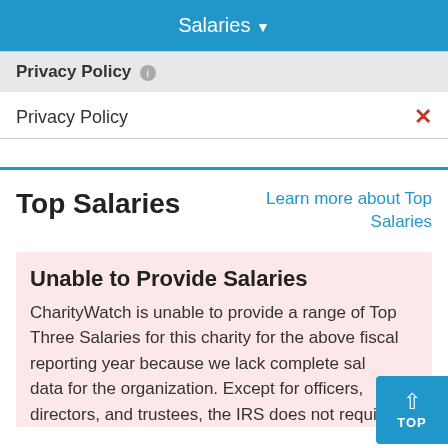Salaries
Privacy Policy
Privacy Policy ×
Top Salaries
Learn more about Top Salaries
Unable to Provide Salaries
CharityWatch is unable to provide a range of Top Three Salaries for this charity for the above fiscal reporting year because we lack complete salary data for the organization. Except for officers, directors, and trustees, the IRS does not require